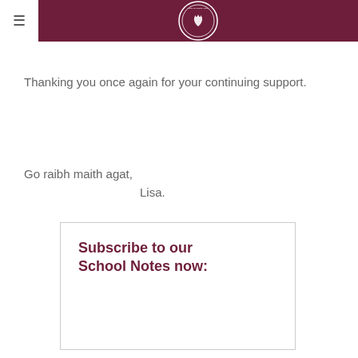≡ [School logo]
Thanking you once again for your continuing support.
Go raibh maith agat,
Lisa.
Subscribe to our School Notes now: